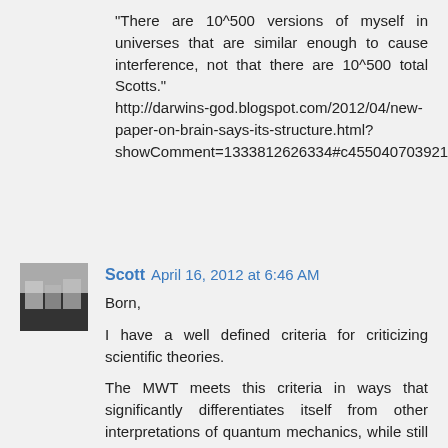"There are 10^500 versions of myself in universes that are similar enough to cause interference, not that there are 10^500 total Scotts." http://darwins-god.blogspot.com/2012/04/new-paper-on-brain-says-its-structure.html?showComment=1333812626334#c4550407039215418283
Scott  April 16, 2012 at 6:46 AM
Born,
I have a well defined criteria for criticizing scientific theories.
The MWT meets this criteria in ways that significantly differentiates itself from other interpretations of quantum mechanics, while still accepting the same observations. Specifically, it's deep, hard to vary, and has more explanatory power, despite being less complex, in that it